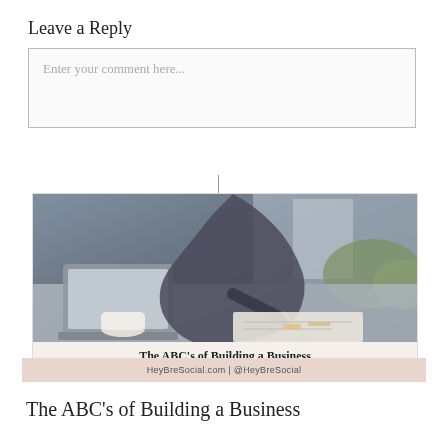Leave a Reply
Enter your comment here...
[Figure (photo): A person leaning over a table writing on paper with a laptop open beside them and a cup of coffee, photographed outdoors.]
The ABC's of Building a Business
HeyBreSocial.com | @HeyBreSocial
The ABC's of Building a Business